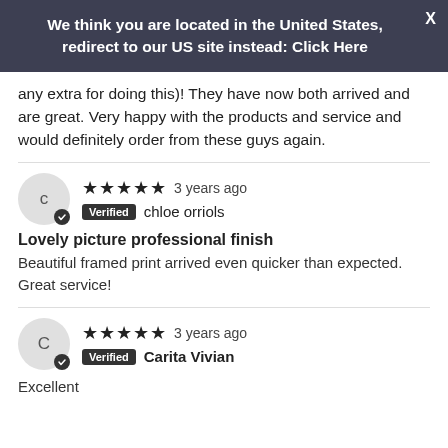We think you are located in the United States, redirect to our US site instead: Click Here
any extra for doing this)! They have now both arrived and are great. Very happy with the products and service and would definitely order from these guys again.
★★★★★ 3 years ago Verified chloe orriols
Lovely picture professional finish
Beautiful framed print arrived even quicker than expected. Great service!
★★★★★ 3 years ago Verified Carita Vivian
Excellent